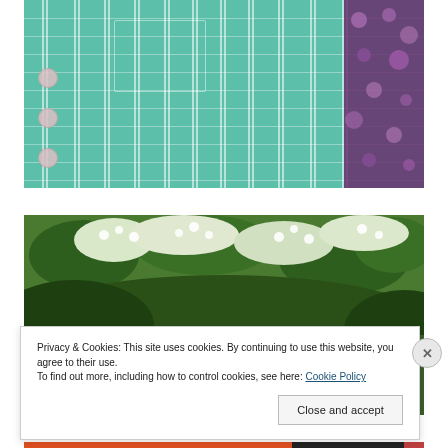[Figure (photo): Close-up photo of a teal/mint striped button-up shirt with pink/white vertical and horizontal stripes, buttons visible on the left side. Dark purple floral fabric visible on the right edge.]
[Figure (photo): Photo of a child or person with reddish-brown hair (seen from behind, head only visible) in front of green foliage and white flowers/blossoms.]
Privacy & Cookies: This site uses cookies. By continuing to use this website, you agree to their use.
To find out more, including how to control cookies, see here: Cookie Policy
Close and accept